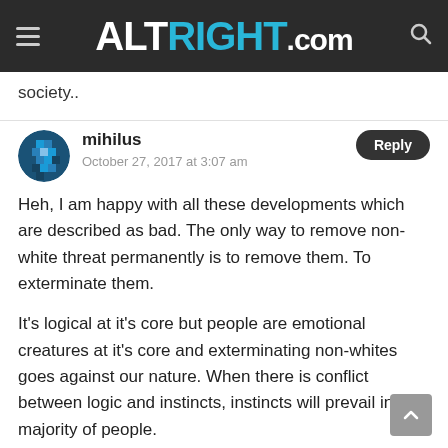ALTRIGHT.COM
society..
mihilus
October 27, 2017 at 3:07 am

Heh, I am happy with all these developments which are described as bad. The only way to remove non-white threat permanently is to remove them. To exterminate them.

It's logical at it's core but people are emotional creatures at it's core and exterminating non-whites goes against our nature. When there is conflict between logic and instincts, instincts will prevail in majority of people.

These developments lead exactly where they
[Figure (screenshot): Pixel art avatar icon of a blue figure]